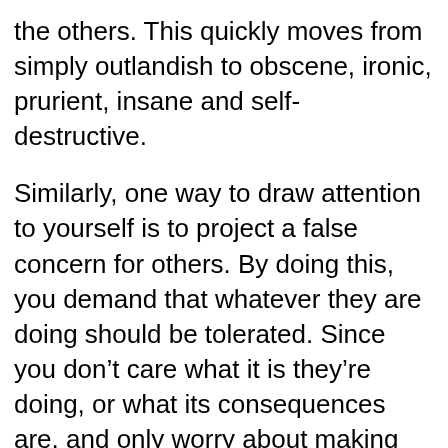the others. This quickly moves from simply outlandish to obscene, ironic, prurient, insane and self-destructive.
Similarly, one way to draw attention to yourself is to project a false concern for others. By doing this, you demand that whatever they are doing should be tolerated. Since you don’t care what it is they’re doing, or what its consequences are, and only worry about making yourself look good, a spiral appears here too.
In the West right now, we’re seeing a mass